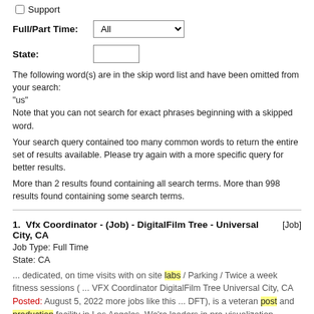☐ Support
Full/Part Time: [All dropdown]
State: [text input]
The following word(s) are in the skip word list and have been omitted from your search: "us"
Note that you can not search for exact phrases beginning with a skipped word.
Your search query contained too many common words to return the entire set of results available. Please try again with a more specific query for better results.
More than 2 results found containing all search terms. More than 998 results found containing some search terms.
1. Vfx Coordinator - (Job) - DigitalFilm Tree - Universal City, CA [Job]
Job Type: Full Time
State: CA
... dedicated, on time visits with on site labs / Parking / Twice a week fitness sessions ( ... VFX Coordinator DigitalFilm Tree Universal City, CA Posted: August 5, 2022 more jobs like this ... DFT), is a veteran post and production facility in Los Angeles. We're leaders in pre-visualization ...
Terms matched: 5
2. Vfx Coordinator - (Job) - DigitalFilm Tree - Universal City, CA [Job]